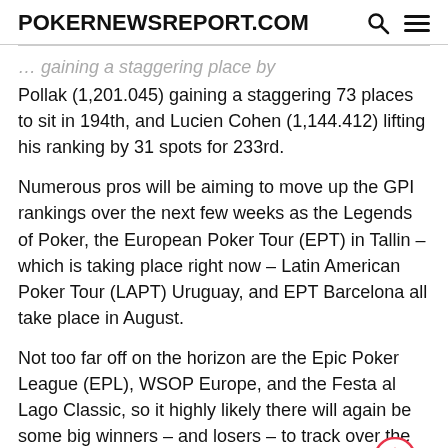POKERNEWSREPORT.COM
Pollak (1,201.045) gaining a staggering 73 places to sit in 194th, and Lucien Cohen (1,144.412) lifting his ranking by 31 spots for 233rd.
Numerous pros will be aiming to move up the GPI rankings over the next few weeks as the Legends of Poker, the European Poker Tour (EPT) in Tallin – which is taking place right now – Latin American Poker Tour (LAPT) Uruguay, and EPT Barcelona all take place in August.
Not too far off on the horizon are the Epic Poker League (EPL), WSOP Europe, and the Festa al Lago Classic, so it highly likely there will again be some big winners – and losers – to track over the next few months.